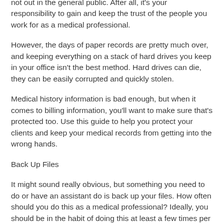not out in the general public. After all, it's your responsibility to gain and keep the trust of the people you work for as a medical professional.
However, the days of paper records are pretty much over, and keeping everything on a stack of hard drives you keep in your office isn't the best method. Hard drives can die, they can be easily corrupted and quickly stolen.
Medical history information is bad enough, but when it comes to billing information, you'll want to make sure that's protected too. Use this guide to help you protect your clients and keep your medical records from getting into the wrong hands.
Back Up Files
It might sound really obvious, but something you need to do or have an assistant do is back up your files. How often should you do this as a medical professional? Ideally, you should be in the habit of doing this at least a few times per week. If you're particularly busy you might even want to have